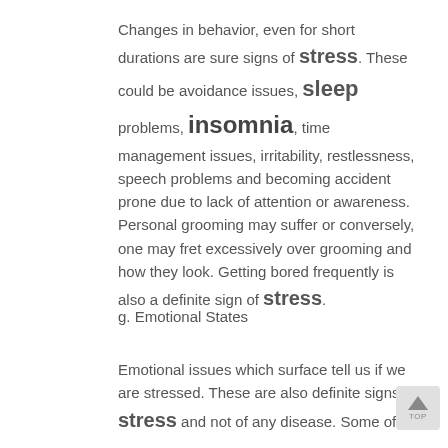Changes in behavior, even for short durations are sure signs of stress. These could be avoidance issues, sleep problems, insomnia, time management issues, irritability, restlessness, speech problems and becoming accident prone due to lack of attention or awareness. Personal grooming may suffer or conversely, one may fret excessively over grooming and how they look. Getting bored frequently is also a definite sign of stress.
g. Emotional States
Emotional issues which surface tell us if we are stressed. These are also definite signs of stress and not of any disease. Some of